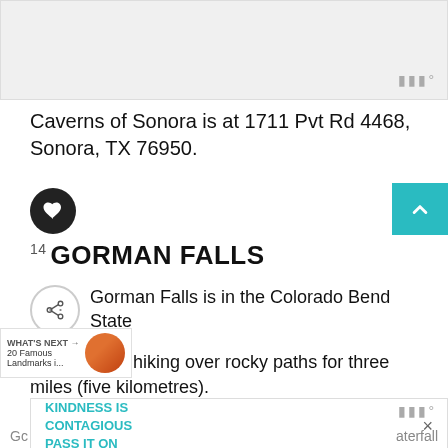[Figure (photo): Top image area showing a gray/white placeholder for a travel photo]
Caverns of Sonora is at 1711 Pvt Rd 4468, Sonora, TX 76950.
14 GORMAN FALLS
Gorman Falls is in the Colorado Bend State accessible by hiking over rocky paths for three miles (five kilometres).
KINDNESS IS CONTAGIOUS PASS IT ON
Gc
aterfall